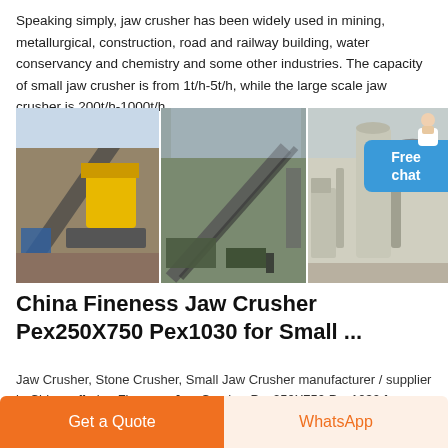Speaking simply, jaw crusher has been widely used in mining, metallurgical, construction, road and railway building, water conservancy and chemistry and some other industries. The capacity of small jaw crusher is from 1t/h-5t/h, while the large scale jaw crusher is 200t/h-1000t/h.
[Figure (photo): Three photos of jaw crusher and mining equipment in industrial settings, with a blue 'Free chat' button overlay and a person icon in the top right.]
China Fineness Jaw Crusher Pex250X750 Pex1030 for Small ...
Jaw Crusher, Stone Crusher, Small Jaw Crusher manufacturer / supplier in China, offering Fineness Jaw Crusher Pex250X750 Pex1030 for Small
Get a Quote   WhatsApp